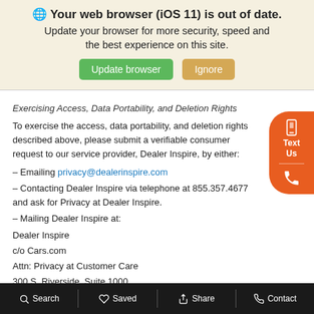[Figure (screenshot): Browser update warning banner with globe icon, bold text 'Your web browser (iOS 11) is out of date.', subtitle text, and two buttons: green 'Update browser' and tan 'Ignore']
Exercising Access, Data Portability, and Deletion Rights
To exercise the access, data portability, and deletion rights described above, please submit a verifiable consumer request to our service provider, Dealer Inspire, by either:
– Emailing privacy@dealerinspire.com
– Contacting Dealer Inspire via telephone at 855.357.4677 and ask for Privacy at Dealer Inspire.
– Mailing Dealer Inspire at:
Dealer Inspire
c/o Cars.com
Attn: Privacy at Customer Care
300 S. Riverside, Suite 1000
Chicago, IL 60606
[Figure (other): Orange floating widget on right side with phone/text icons]
Search  Saved  Share  Contact